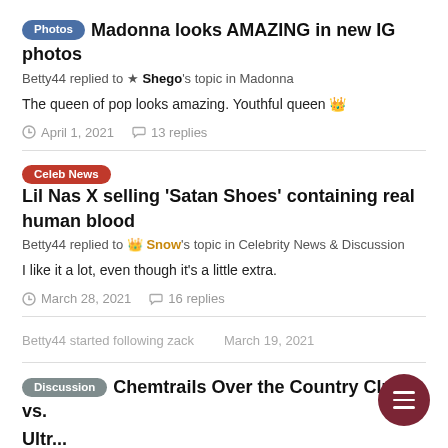Photos — Madonna looks AMAZING in new IG photos. Betty44 replied to ★ Shego's topic in Madonna. The queen of pop looks amazing. Youthful queen 👑 April 1, 2021 · 13 replies
Celeb News — Lil Nas X selling 'Satan Shoes' containing real human blood. Betty44 replied to 👑 Snow's topic in Celebrity News & Discussion. I like it a lot, even though it's a little extra. March 28, 2021 · 16 replies
Betty44 started following zack   March 19, 2021
Discussion — Chemtrails Over the Country Club vs. Ultra...